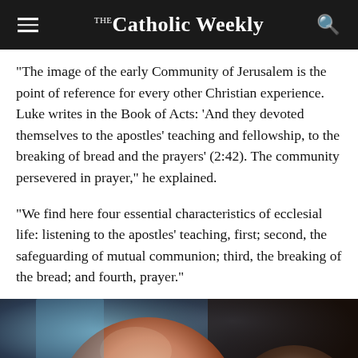The Catholic Weekly
“The image of the early Community of Jerusalem is the point of reference for every other Christian experience. Luke writes in the Book of Acts: ‘And they devoted themselves to the apostles’ teaching and fellowship, to the breaking of bread and the prayers’ (2:42). The community persevered in prayer,” he explained.
“We find here four essential characteristics of ecclesial life: listening to the apostles’ teaching, first; second, the safeguarding of mutual communion; third, the breaking of the bread; and fourth, prayer.”
[Figure (photo): Photograph of two people, one bald elderly man in the foreground on the left and another person visible on the right, with dark background.]